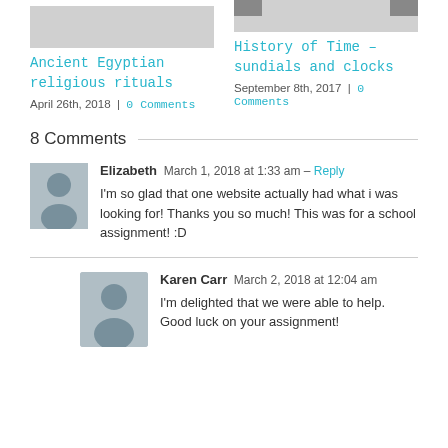[Figure (photo): Gray placeholder image for Ancient Egyptian religious rituals post]
Ancient Egyptian religious rituals
April 26th, 2018  |  0 Comments
[Figure (photo): Gray placeholder image for History of Time – sundials and clocks post with decorative top elements]
History of Time – sundials and clocks
September 8th, 2017  |  0 Comments
8 Comments
Elizabeth   March 1, 2018 at 1:33 am - Reply
I'm so glad that one website actually had what i was looking for! Thanks you so much! This was for a school assignment! :D
Karen Carr   March 2, 2018 at 12:04 am
I'm delighted that we were able to help. Good luck on your assignment!